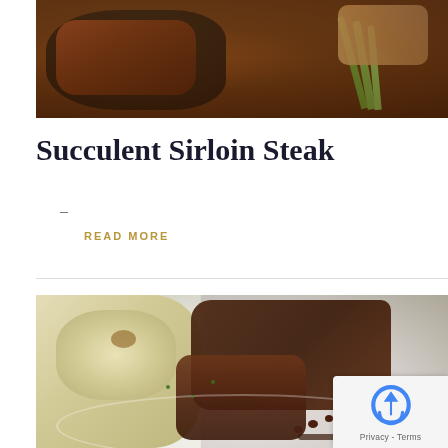[Figure (photo): Top portion of a food photo showing grilled sirloin steak in a cast iron pan with green asparagus spears alongside, partially cropped at the top]
Succulent Sirloin Steak
–
READ MORE
[Figure (photo): Photo of a plated meat dish showing braised or slow-cooked meat pieces alongside mashed potatoes on a white plate with sauce droplets, with a reCAPTCHA privacy badge in the bottom-right corner]